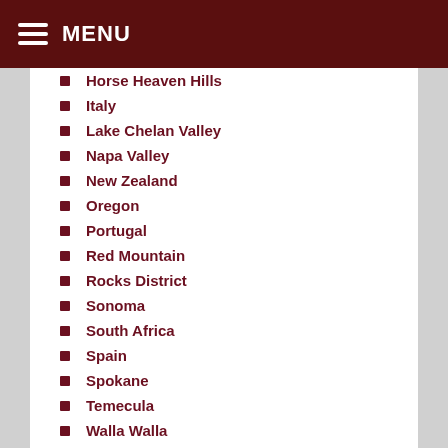MENU
Horse Heaven Hills
Italy
Lake Chelan Valley
Napa Valley
New Zealand
Oregon
Portugal
Red Mountain
Rocks District
Sonoma
South Africa
Spain
Spokane
Temecula
Walla Walla
Washington
Willamette Valley
Woodinville
Yakima Valley